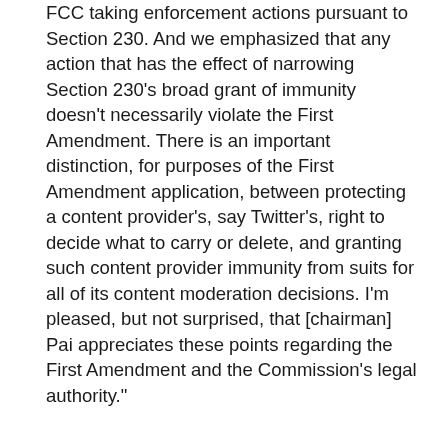FCC taking enforcement actions pursuant to Section 230. And we emphasized that any action that has the effect of narrowing Section 230's broad grant of immunity doesn't necessarily violate the First Amendment. There is an important distinction, for purposes of the First Amendment application, between protecting a content provider's, say Twitter's, right to decide what to carry or delete, and granting such content provider immunity from suits for all of its content moderation decisions. I'm pleased, but not surprised, that [chairman] Pai appreciates these points regarding the First Amendment and the Commission's legal authority."